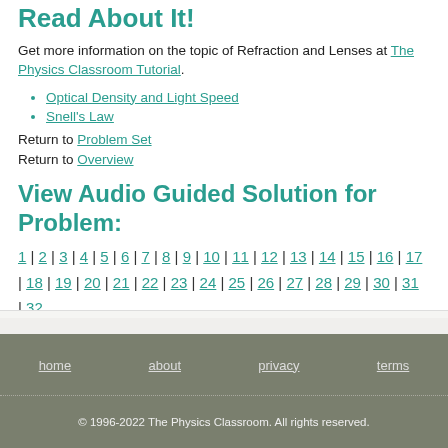Read About It!
Get more information on the topic of Refraction and Lenses at The Physics Classroom Tutorial.
Optical Density and Light Speed
Snell's Law
Return to Problem Set
Return to Overview
View Audio Guided Solution for Problem:
1 | 2 | 3 | 4 | 5 | 6 | 7 | 8 | 9 | 10 | 11 | 12 | 13 | 14 | 15 | 16 | 17 | 18 | 19 | 20 | 21 | 22 | 23 | 24 | 25 | 26 | 27 | 28 | 29 | 30 | 31 | 32
home | about | privacy | terms
© 1996-2022 The Physics Classroom. All rights reserved.